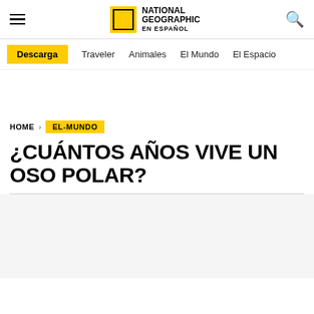National Geographic en Español
Descarga | Traveler | Animales | El Mundo | El Espacio
HOME › EL-MUNDO
¿CUÁNTOS AÑOS VIVE UN OSO POLAR?